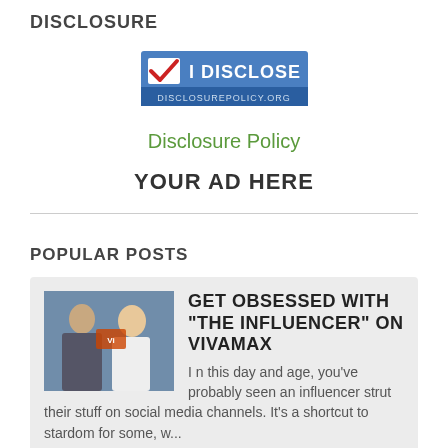DISCLOSURE
[Figure (logo): I Disclose badge from disclosurepolicy.org — blue background with red checkmark and white text]
Disclosure Policy
YOUR AD HERE
POPULAR POSTS
GET OBSESSED WITH "THE INFLUENCER" ON VIVAMAX
I n this day and age, you've probably seen an influencer strut their stuff on social media channels. It's a shortcut to stardom for some, w...